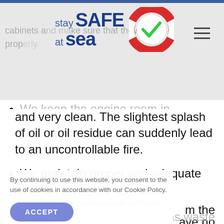stay SAFE at Sea — website header with logo and navigation
We keep the engine room in excellent condition and very clean. The slightest splash of oil or oil residue can suddenly lead to an uncontrollable fire.
We maintain proper and adequate lighting in the [engine room, so that we can see every]thing in [the engine roo]m the [and h]ave no [issue as waste]
By continuing to use this website, you consent to the use of cookies in accordance with our Cookie Policy.
ACCEPT